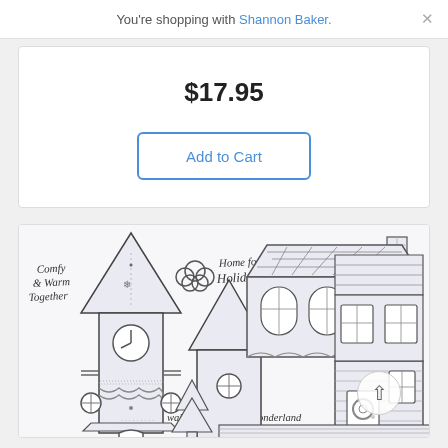You're shopping with Shannon Baker. ×
$17.95
Add to Cart
[Figure (illustration): Rubber stamp set illustration showing Christmas village buildings: a tall church/clock tower with decorative details, a two-story house with a wreath on the door, a small tree, and text stamps reading 'Comfy & Warm Together', 'Home for the Holidays', and 'walking in a winter wonderland']